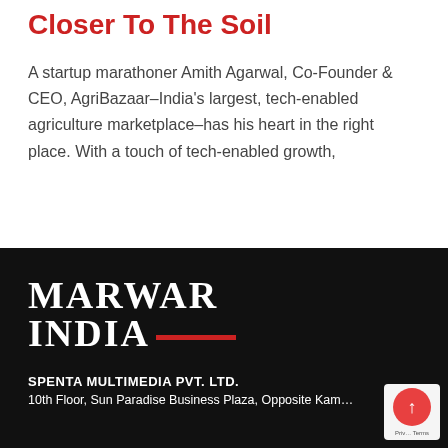Closer To The Soil
A startup marathoner Amith Agarwal, Co-Founder & CEO, AgriBazaar–India's largest, tech-enabled agriculture marketplace–has his heart in the right place. With a touch of tech-enabled growth,
[Figure (logo): Marwar India magazine logo in white text on black background, with a red underline beneath INDIA]
SPENTA MULTIMEDIA PVT. LTD.
10th Floor, Sun Paradise Business Plaza, Opposite Kam...